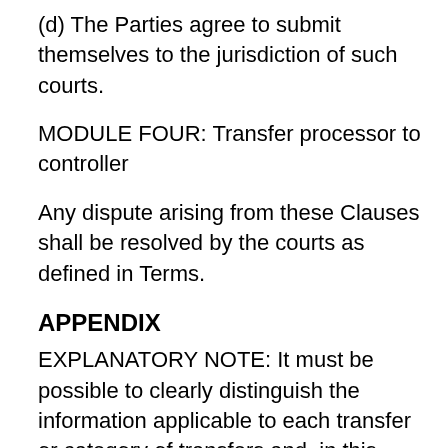(d) The Parties agree to submit themselves to the jurisdiction of such courts.
MODULE FOUR: Transfer processor to controller
Any dispute arising from these Clauses shall be resolved by the courts as defined in Terms.
APPENDIX
EXPLANATORY NOTE: It must be possible to clearly distinguish the information applicable to each transfer or category of transfers and, in this regard, to determine the respective role(s) of the Parties as data exporter(s) and/or data importer(s). This does not